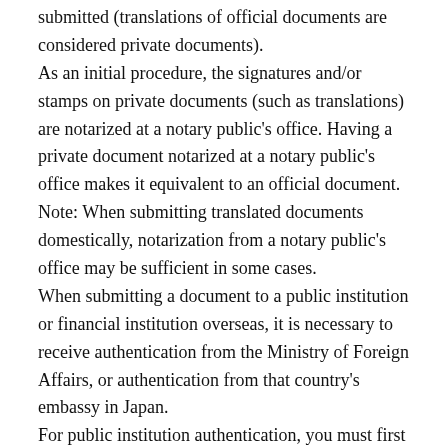submitted (translations of official documents are considered private documents).
As an initial procedure, the signatures and/or stamps on private documents (such as translations) are notarized at a notary public's office. Having a private document notarized at a notary public's office makes it equivalent to an official document. Note: When submitting translated documents domestically, notarization from a notary public's office may be sufficient in some cases.
When submitting a document to a public institution or financial institution overseas, it is necessary to receive authentication from the Ministry of Foreign Affairs, or authentication from that country's embassy in Japan.
For public institution authentication, you must first receive certification of the notary public's stamp at your District Legal Affairs Bureau, then…
→ If the recipient of the document to be submitted is in a Hague Convention signatory country, you can acquire an apostille from the Ministry of Foreign Affairs.
→ If the recipient of the document to be submitted is in a